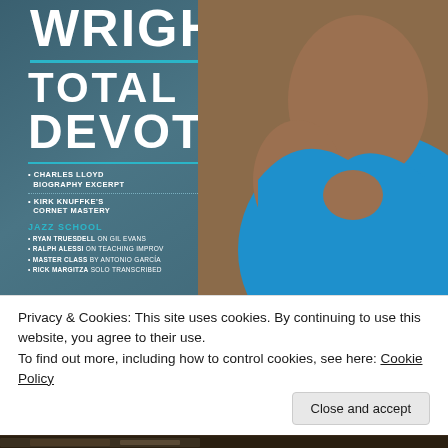[Figure (photo): Magazine cover featuring a Black woman in a blue off-shoulder dress with a teal and grey background. The cover reads 'Wright Total Devotion' with various article teasers including Charles Lloyd biography excerpt, Kirk Knuffke's Cornet Mastery, Jazz School features with Ryan Truesdell on Gil Evans, Ralph Alessi on Teaching Improv, Master Class by Antonio Garcia, and Rick Margitza solo transcribed.]
Privacy & Cookies: This site uses cookies. By continuing to use this website, you agree to their use.
To find out more, including how to control cookies, see here: Cookie Policy
Close and accept
[Figure (photo): Bottom strip showing partial image of what appears to be musical instruments or a jazz-related scene.]